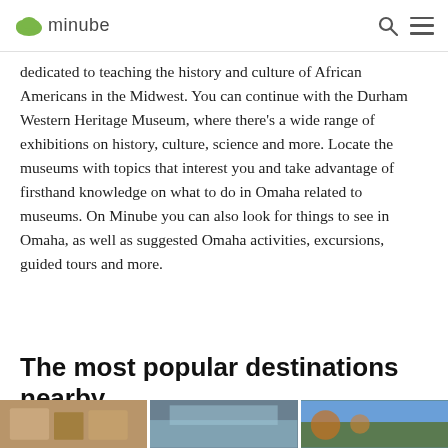minube
dedicated to teaching the history and culture of African Americans in the Midwest. You can continue with the Durham Western Heritage Museum, where there's a wide range of exhibitions on history, culture, science and more. Locate the museums with topics that interest you and take advantage of firsthand knowledge on what to do in Omaha related to museums. On Minube you can also look for things to see in Omaha, as well as suggested Omaha activities, excursions, guided tours and more.
The most popular destinations nearby
[Figure (photo): Interior room photo - warm brown tones]
[Figure (photo): Waterfall landscape photo]
[Figure (photo): Autumn trees landscape photo]